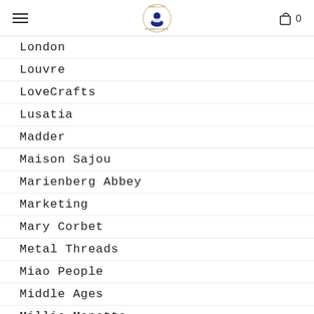Navigation header with hamburger menu, logo, and cart icon showing 0
London
Louvre
LoveCrafts
Lusatia
Madder
Maison Sajou
Marienberg Abbey
Marketing
Mary Corbet
Metal Threads
Miao People
Middle Ages
Millie Monette